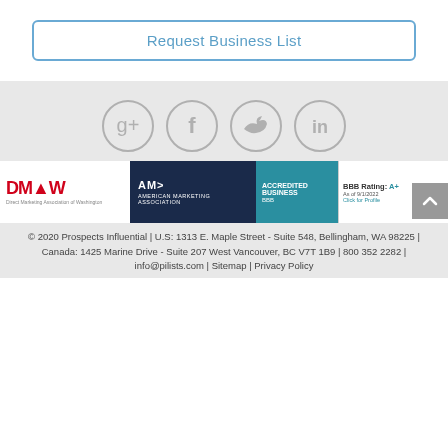Request Business List
[Figure (infographic): Social media icons in gray circles: Google+, Facebook, Twitter, LinkedIn]
[Figure (logo): DMAW - Direct Marketing Association of Washington logo, American Marketing Association logo, BBB Accredited Business A+ rating logo]
© 2020 Prospects Influential | U.S: 1313 E. Maple Street - Suite 548, Bellingham, WA 98225 | Canada: 1425 Marine Drive - Suite 207 West Vancouver, BC V7T 1B9 | 800 352 2282 | info@pilists.com | Sitemap | Privacy Policy